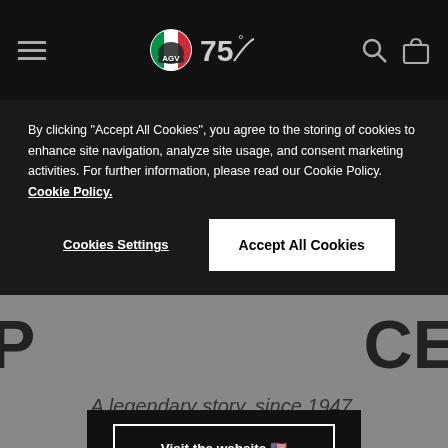[Figure (screenshot): Website navigation bar with hamburger menu, Agv logo (Italian flag helmet logo), 75th anniversary logo, search icon, and shopping bag icon on dark background]
By clicking "Accept All Cookies", you agree to the storing of cookies to enhance site navigation, analyze site usage, and consent marketing activities. For further information, please read our Cookie Policy. Cookie Policy.
Cookies Settings
Accept All Cookies
Visit the website 🇺🇸
STAY ON THIS WEBSITE
A legendary story, since 1947.